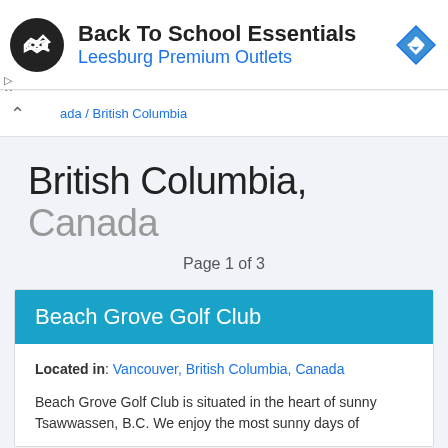[Figure (infographic): Advertisement banner: Back To School Essentials - Leesburg Premium Outlets with logo and navigation icon]
ada / British Columbia
British Columbia, Canada
Page 1 of 3
Beach Grove Golf Club
Located in: Vancouver, British Columbia, Canada
Beach Grove Golf Club is situated in the heart of sunny Tsawwassen, B.C. We enjoy the most sunny days of